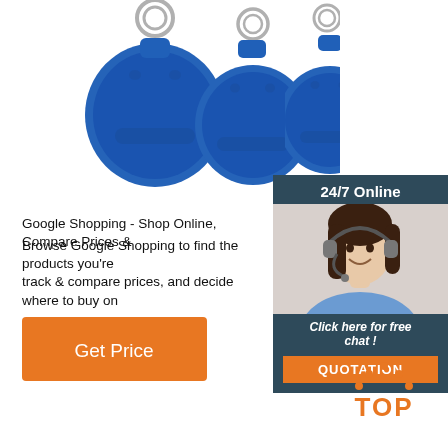[Figure (photo): Three blue RFID keyfob tags with metal key rings on white background]
[Figure (infographic): 24/7 Online chat widget with female customer service agent wearing headset, orange QUOTATION button, dark teal background]
Google Shopping - Shop Online, Compare Prices &
Browse Google Shopping to find the products you're looking for, track & compare prices, and decide where to buy on...
[Figure (other): Orange Get Price button]
[Figure (logo): Orange TOP button with dotted arrow pointing upward]